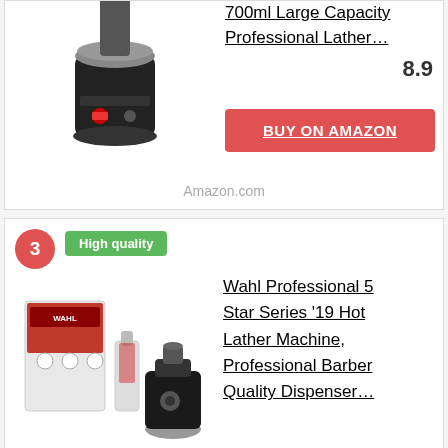[Figure (photo): Black and silver hot lather machine / shaving cream dispenser (partial view, top of card)]
700ml Large Capacity Professional Lather…
8.9
BUY ON AMAZON
Amazon.com
3
High quality
[Figure (photo): Wahl Professional 5 Star Series Hot Lather Machine product set with box, bottle, and dispenser]
Wahl Professional 5 Star Series '19 Hot Lather Machine, Professional Barber Quality Dispenser…
8.9
BUY ON AMAZON
Amazon.com
4
Hot Lather Machine, SENEMO Hot lath...